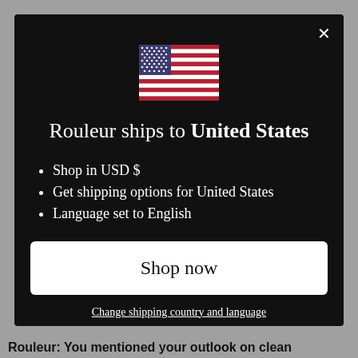[Figure (screenshot): US flag emoji/image centered in modal]
Rouleur ships to United States
Shop in USD $
Get shipping options for United States
Language set to English
Shop now
Change shipping country and language
Rouleur: You mentioned your outlook on clean